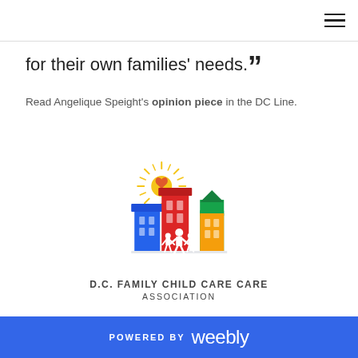for their own families' needs."
Read Angelique Speight's opinion piece in the DC Line.
[Figure (logo): D.C. Family Child Care Association logo: colorful illustrated row of buildings with a sun and heart above, white family silhouettes in foreground]
D.C. FAMILY CHILD CARE ASSOCIATION
POWERED BY weebly